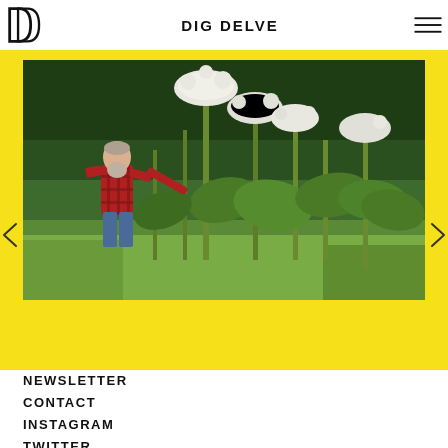DIG DELVE
[Figure (photo): A man in a red plaid shirt walking among very tall green plants with large white umbellifer flowers (likely giant hogweed), with trees in the background and grass in the foreground.]
NEWSLETTER
CONTACT
INSTAGRAM
TWITTER
TERMS & CONDITIONS